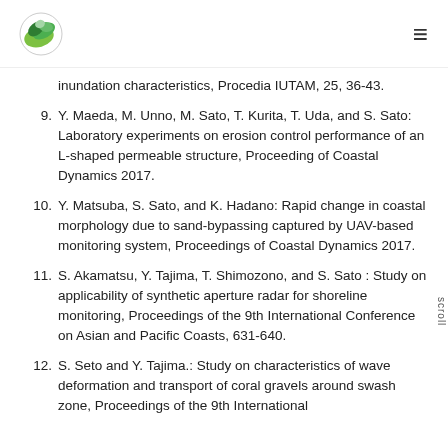[Logo] [Hamburger menu]
inundation characteristics, Procedia IUTAM, 25, 36-43.
9. Y. Maeda, M. Unno, M. Sato, T. Kurita, T. Uda, and S. Sato: Laboratory experiments on erosion control performance of an L-shaped permeable structure, Proceeding of Coastal Dynamics 2017.
10. Y. Matsuba, S. Sato, and K. Hadano: Rapid change in coastal morphology due to sand-bypassing captured by UAV-based monitoring system, Proceedings of Coastal Dynamics 2017.
11. S. Akamatsu, Y. Tajima, T. Shimozono, and S. Sato : Study on applicability of synthetic aperture radar for shoreline monitoring, Proceedings of the 9th International Conference on Asian and Pacific Coasts, 631-640.
12. S. Seto and Y. Tajima.: Study on characteristics of wave deformation and transport of coral gravels around swash zone, Proceedings of the 9th International